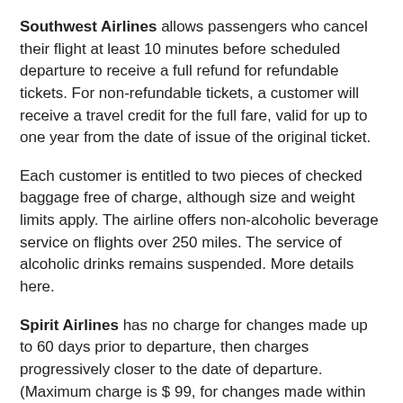Southwest Airlines allows passengers who cancel their flight at least 10 minutes before scheduled departure to receive a full refund for refundable tickets. For non-refundable tickets, a customer will receive a travel credit for the full fare, valid for up to one year from the date of issue of the original ticket.
Each customer is entitled to two pieces of checked baggage free of charge, although size and weight limits apply. The airline offers non-alcoholic beverage service on flights over 250 miles. The service of alcoholic drinks remains suspended. More details here.
Spirit Airlines has no charge for changes made up to 60 days prior to departure, then charges progressively closer to the date of departure. (Maximum charge is $ 99, for changes made within two days of departure.)
The airline offers food and drink for purchase. Menus have been removed from airplanes but are available on mobile devices.